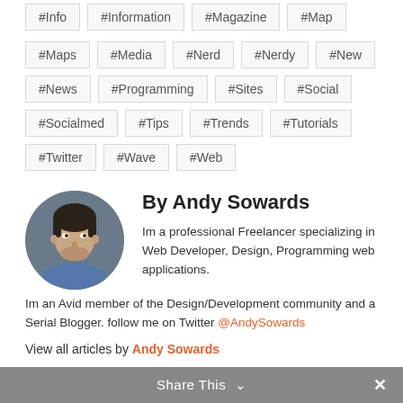#Info
#Information
#Magazine
#Map
#Maps
#Media
#Nerd
#Nerdy
#New
#News
#Programming
#Sites
#Social
#Socialmed
#Tips
#Trends
#Tutorials
#Twitter
#Wave
#Web
[Figure (photo): Circular profile photo of Andy Sowards, a man with short hair wearing a blue shirt]
By Andy Sowards
Im a professional Freelancer specializing in Web Developer, Design, Programming web applications. Im an Avid member of the Design/Development community and a Serial Blogger. follow me on Twitter @AndySowards
View all articles by Andy Sowards
Share This ∨ ✕